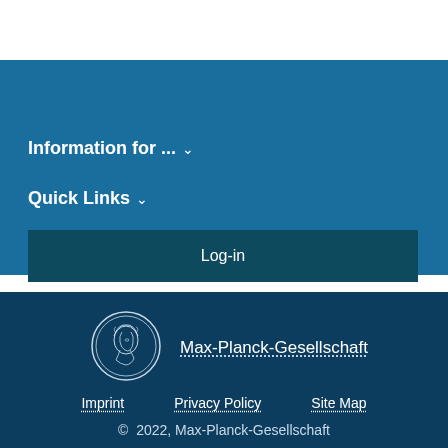Information for ... ∨
Quick Links ∨
Internal Pages ∨
Log-in
[Figure (logo): Max-Planck-Gesellschaft circular medallion logo with profile of Minerva]
Max-Planck-Gesellschaft
Imprint   Privacy Policy   Site Map
© 2022, Max-Planck-Gesellschaft